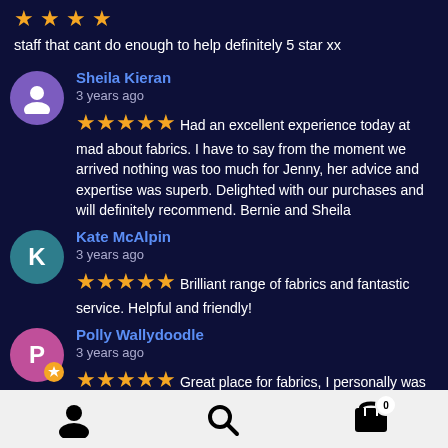staff that cant do enough to help definitely 5 star xx
Sheila Kieran
3 years ago
★★★★★ Had an excellent experience today at mad about fabrics.  I have to say from the moment we arrived nothing was too much for Jenny, her advice and expertise was superb.  Delighted with our purchases and will definitely recommend.  Bernie and Sheila
Kate McAlpin
3 years ago
★★★★★ Brilliant range of fabrics and fantastic service. Helpful and friendly!
Polly Wallydoodle
3 years ago
★★★★★ Great place for fabrics, I personally was after upholstery fabrics to match my sofa, the gentleman
[Figure (infographic): Bottom navigation bar with person icon, search icon, and shopping basket icon with badge showing 0]